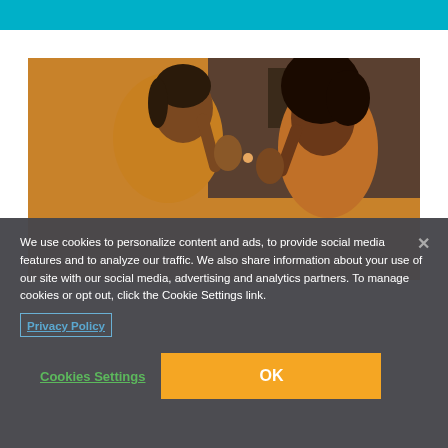[Figure (photo): A woman in a yellow top and a young girl with natural hair high-fiving and laughing together in a home setting.]
We use cookies to personalize content and ads, to provide social media features and to analyze our traffic. We also share information about your use of our site with our social media, advertising and analytics partners. To manage cookies or opt out, click the Cookie Settings link.
Privacy Policy
Cookies Settings
OK